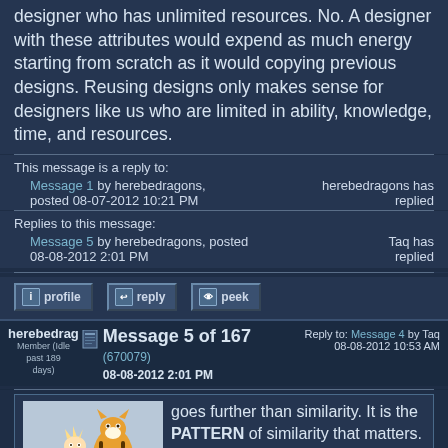designer who has unlimited resources. No. A designer with these attributes would expend as much energy starting from scratch as it would copying previous designs. Reusing designs only makes sense for designers like us who are limited in ability, knowledge, time, and resources.
This message is a reply to:
Message 1 by herebedragons, posted 08-07-2012 10:21 PM — herebedragons has replied
Replies to this message:
Message 5 by herebedragons, posted 08-08-2012 2:01 PM — Taq has replied
profile  reply  peek
herebedragons  Message 5 of 167  Reply to: Message 4 by Taq 08-08-2012 10:53 AM
Member (Idle past 189 days)
(670079)  08-08-2012 2:01 PM
[Figure (illustration): Calvin and Hobbes cartoon illustration, boy and tiger standing together]
goes further than similarity. It is the PATTERN of similarity that matters. That pattern is a nested hierarchy.